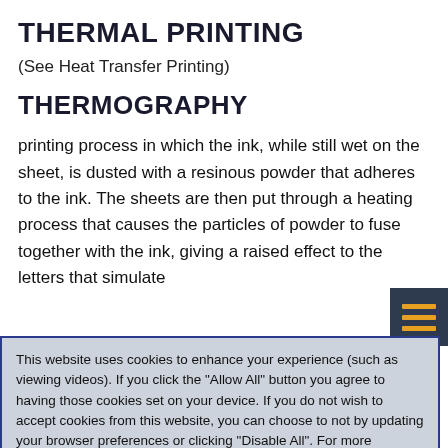THERMAL PRINTING
(See Heat Transfer Printing)
THERMOGRAPHY
printing process in which the ink, while still wet on the sheet, is dusted with a resinous powder that adheres to the ink. The sheets are then put through a heating process that causes the particles of powder to fuse together with the ink, giving a raised effect to the letters that simulate
This website uses cookies to enhance your experience (such as viewing videos). If you click the "Allow All" button you agree to having those cookies set on your device. If you do not wish to accept cookies from this website, you can choose to not by updating your browser preferences or clicking "Disable All". For more information on how we use Cookies, please read our Privacy Policy.
ink that polymerizes to a permanently solid and infusible